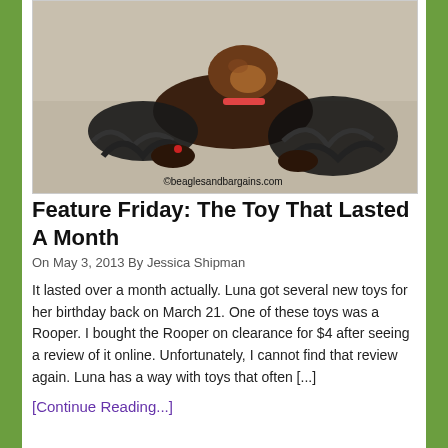[Figure (photo): A small dog (beagle mix) lying on a beige carpet holding or gnawing a dark rope toy. Watermark reads ©beaglesandbargains.com]
Feature Friday: The Toy That Lasted A Month
On May 3, 2013 By Jessica Shipman
It lasted over a month actually. Luna got several new toys for her birthday back on March 21. One of these toys was a Rooper. I bought the Rooper on clearance for $4 after seeing a review of it online. Unfortunately, I cannot find that review again. Luna has a way with toys that often [...]
[Continue Reading...]